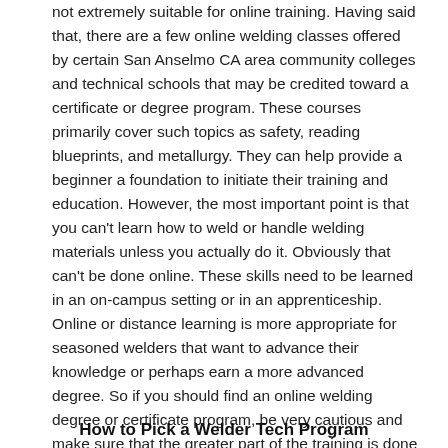not extremely suitable for online training. Having said that, there are a few online welding classes offered by certain San Anselmo CA area community colleges and technical schools that may be credited toward a certificate or degree program. These courses primarily cover such topics as safety, reading blueprints, and metallurgy. They can help provide a beginner a foundation to initiate their training and education. However, the most important point is that you can't learn how to weld or handle welding materials unless you actually do it. Obviously that can't be done online. These skills need to be learned in an on-campus setting or in an apprenticeship. Online or distance learning is more appropriate for seasoned welders that want to advance their knowledge or perhaps earn a more advanced degree. So if you should find an online welding degree or certificate program, be very cautious and make sure that the greater part of the training is done on campus or in a workshop type of setting.
How to Pick a Welder Tech Program